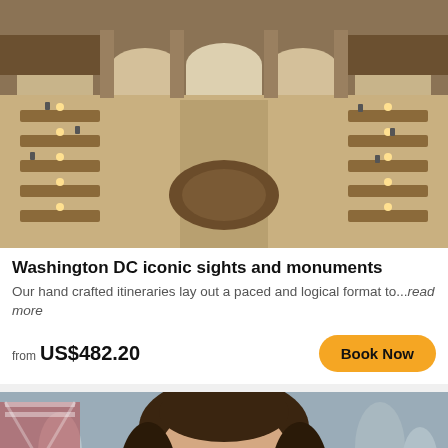[Figure (photo): Aerial interior view of a grand library reading room with arched galleries, circular desk arrangements, and many people working at reading tables.]
Washington DC iconic sights and monuments
Our hand crafted itineraries lay out a paced and logical format to...read more
from US$482.20
Book Now
[Figure (photo): Close-up of a woman wearing large blue sunglasses on a busy street, with people and Union Jack merchandise visible in the background.]